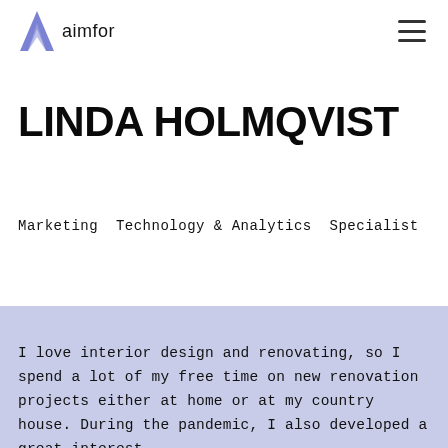aimfor
LINDA HOLMQVIST
Marketing Technology & Analytics Specialist
I love interior design and renovating, so I spend a lot of my free time on new renovation projects either at home or at my country house. During the pandemic, I also developed a great interest